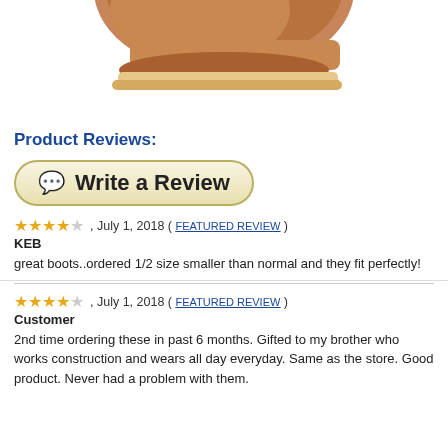[Figure (photo): Partial view of a brown/tan boot shoe, cropped at top of page]
Product Reviews:
[Figure (other): Write a Review button with speech bubble icon]
★★★★☆ , July 1, 2018 ( FEATURED REVIEW )
KEB
great boots..ordered 1/2 size smaller than normal and they fit perfectly!
★★★★☆ , July 1, 2018 ( FEATURED REVIEW )
Customer
2nd time ordering these in past 6 months. Gifted to my brother who works construction and wears all day everyday. Same as the store. Good product. Never had a problem with them.